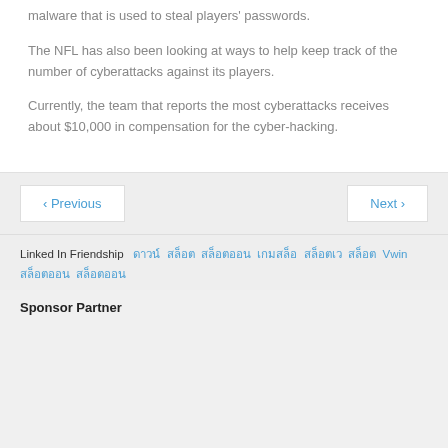malware that is used to steal players' passwords.
The NFL has also been looking at ways to help keep track of the number of cyberattacks against its players.
Currently, the team that reports the most cyberattacks receives about $10,000 in compensation for the cyber-hacking.
< Previous
Next >
Linked In Friendship  [links in Thai/Vietnamese script]  Vwin  [additional links]
Sponsor Partner